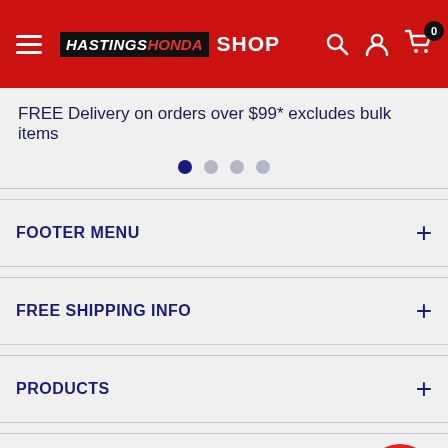HASTINGS HONDA SHOP — Navigation header with search, user, and cart icons
FREE Delivery on orders over $99* excludes bulk items
[Figure (other): Carousel navigation dots, first dot active]
FOOTER MENU
FREE SHIPPING INFO
PRODUCTS
THE LATEST
Enter your email and we will keep you posted with the latest news and promotions